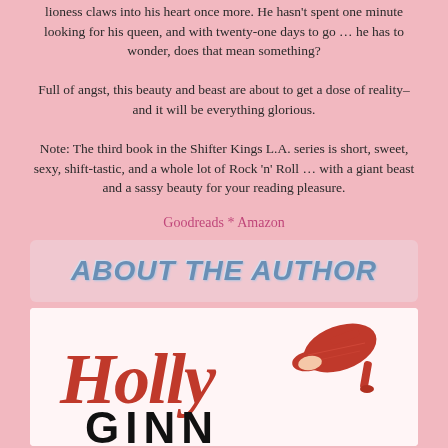lioness claws into his heart once more. He hasn't spent one minute looking for his queen, and with twenty-one days to go … he has to wonder, does that mean something?
Full of angst, this beauty and beast are about to get a dose of reality–and it will be everything glorious.
Note: The third book in the Shifter Kings L.A. series is short, sweet, sexy, shift-tastic, and a whole lot of Rock 'n' Roll … with a giant beast and a sassy beauty for your reading pleasure.
Goodreads * Amazon
ABOUT THE AUTHOR
[Figure (logo): Holly Ginn author logo with red script 'Holly' text and red high heel shoes illustration, with 'GINN' in bold black text below]